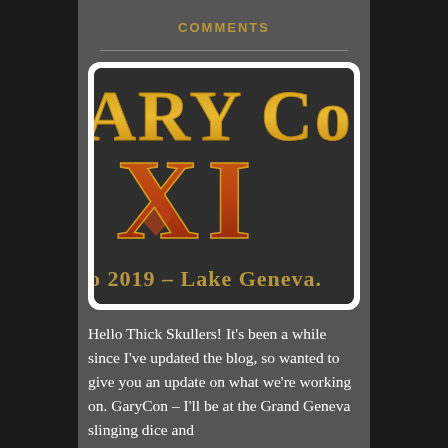COMMENTS
[Figure (logo): GaryCon XI logo with orange and gold lettering on dark background, text reads 'ARY Co' at top, 'XI' in center, and '0 2019 - Lake Geneva.' at bottom]
Hello Thick Skullers! It's been a while since I've updated the blog, so wanted to give you an update on what we're working on. GaryCon – I'll be at the Grand Geneva slinging dice and